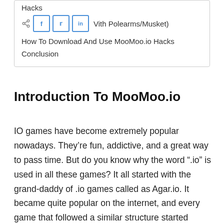Hacks
With Polearms/Musket)
How To Download And Use MooMoo.io Hacks
Conclusion
Introduction To MooMoo.io
IO games have become extremely popular nowadays. They’re fun, addictive, and a great way to pass time. But do you know why the word “.io” is used in all these games? It all started with the grand-daddy of .io games called as Agar.io. It became quite popular on the internet, and every game that followed a similar structure started adopting the name “.io” into its